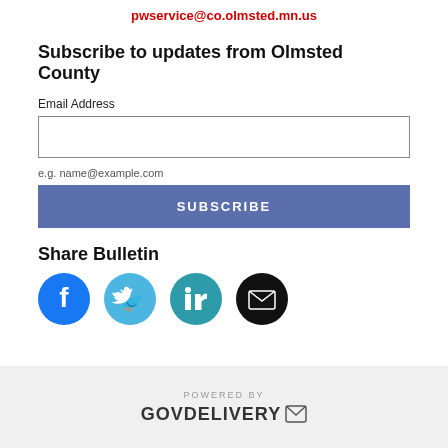pwservice@co.olmsted.mn.us
Subscribe to updates from Olmsted County
Email Address
e.g. name@example.com
SUBSCRIBE
Share Bulletin
[Figure (infographic): Social media share icons: Facebook (blue), Twitter (light blue), LinkedIn (teal), Email (black)]
POWERED BY GOVDELIVERY